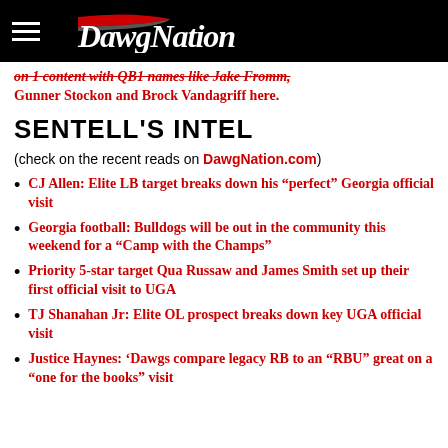DawgNation
on 1 content with QB1 names like Jake Fromm, Gunner Stockon and Brock Vandagriff here.
SENTELL'S INTEL
(check on the recent reads on DawgNation.com)
CJ Allen: Elite LB target breaks down his “perfect” Georgia official visit
Georgia football: Bulldogs will be out in the community this weekend for a “Camp with the Champs”
Priority 5-star target Qua Russaw and James Smith set up their first official visit to UGA
TJ Shanahan Jr: Elite OL prospect breaks down key UGA official visit
Justice Haynes: ‘Dawgs compare legacy RB to an “RBU” great on a “one for the books” visit